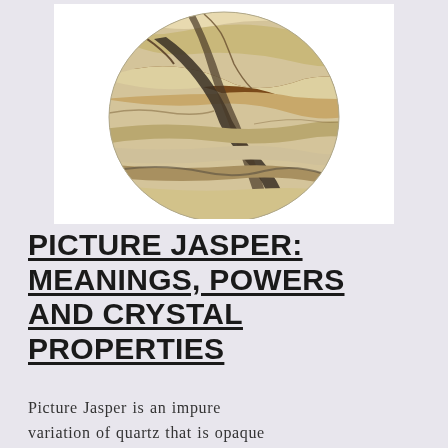[Figure (photo): An oval-shaped Picture Jasper stone with tan, cream, and brown swirling patterns resembling a landscape, with dark grey veining running through it.]
PICTURE JASPER: MEANINGS, POWERS AND CRYSTAL PROPERTIES
Picture Jasper is an impure variation of quartz that is opaque